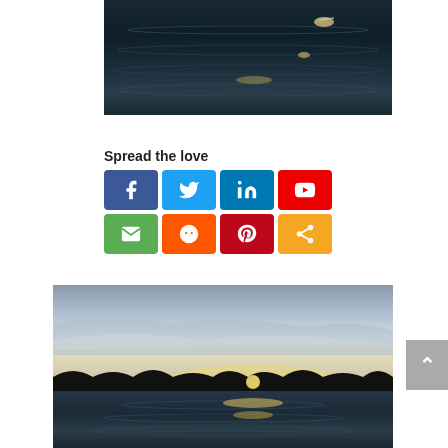[Figure (photo): Dark water surface with light reflections, likely ocean or lake at dusk]
Spread the love
[Figure (infographic): Row of social media share buttons: Facebook, Twitter, LinkedIn, YouTube, Email, Reddit, Pinterest, Share]
[Figure (photo): Sunset over a lake with silhouetted treeline, reflections on calm water]